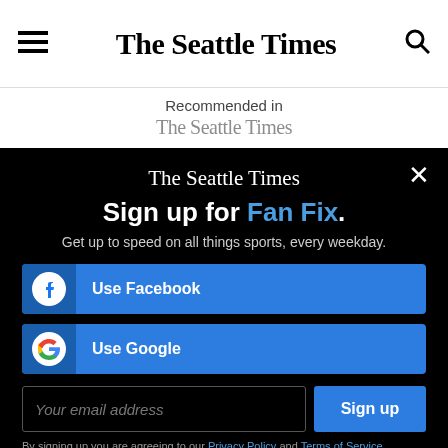The Seattle Times
Recommended in The Seattle Times
[Figure (screenshot): The Seattle Times sign-up modal overlay on black background with Facebook, Google, and email sign-up options for Fan Fix newsletter]
Sign up for Fan Fix.
Get up to speed on all things sports, every weekday.
Use Facebook
Use Google
Your email address
Sign up
By signing up you are agreeing to our Privacy Policy and Terms of Service.